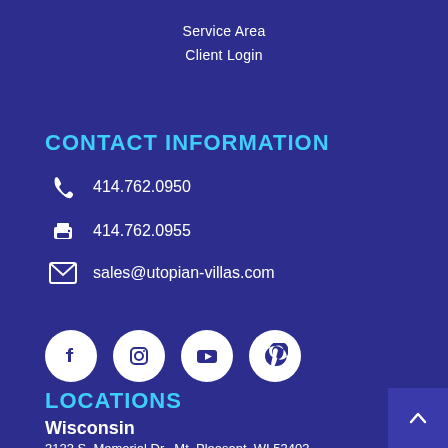Service Area
Client Login
CONTACT INFORMATION
414.762.0950
414.762.0955
sales@utopian-villas.com
[Figure (infographic): Four white circular social media icons on dark blue background: Facebook, Instagram, YouTube, Pinterest]
LOCATIONS
Wisconsin
3123 S. Memorial Dr., Mt. Pleasant, WI 53403